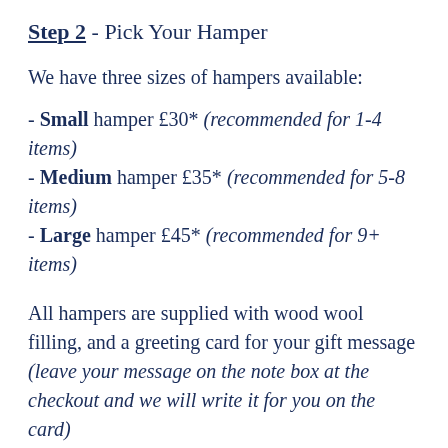Step 2 - Pick Your Hamper
We have three sizes of hampers available:
- Small hamper £30* (recommended for 1-4 items)
- Medium hamper £35* (recommended for 5-8 items)
- Large hamper £45* (recommended for 9+ items)
All hampers are supplied with wood wool filling, and a greeting card for your gift message (leave your message on the note box at the checkout and we will write it for you on the card)